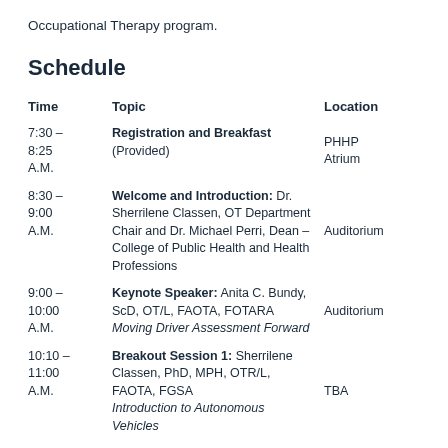Occupational Therapy program.
Schedule
| Time | Topic | Location |
| --- | --- | --- |
| 7:30 – 8:25 A.M. | Registration and Breakfast (Provided) | PHHP Atrium |
| 8:30 – 9:00 A.M. | Welcome and Introduction: Dr. Sherrilene Classen, OT Department Chair and Dr. Michael Perri, Dean – College of Public Health and Health Professions | Auditorium |
| 9:00 – 10:00 A.M. | Keynote Speaker: Anita C. Bundy, ScD, OT/L, FAOTA, FOTARA
Moving Driver Assessment Forward | Auditorium |
| 10:10 – 11:00 A.M. | Breakout Session 1: Sherrilene Classen, PhD, MPH, OTR/L, FAOTA, FGSA
Introduction to Autonomous Vehicles | TBA |
|  | Breakout Session 1: Consuelo |  |